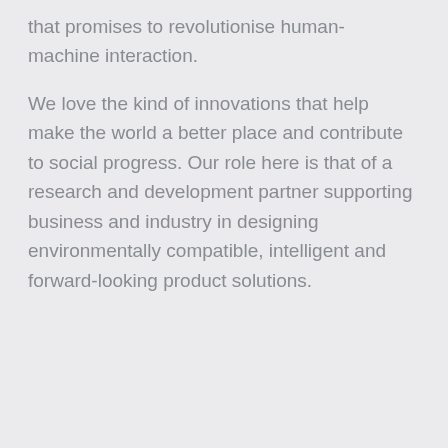that promises to revolutionise human-machine interaction.
We love the kind of innovations that help make the world a better place and contribute to social progress. Our role here is that of a research and development partner supporting business and industry in designing environmentally compatible, intelligent and forward-looking product solutions.